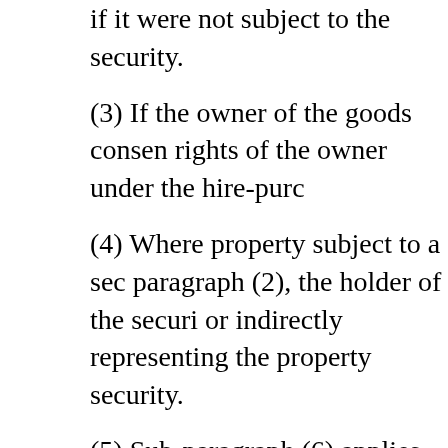if it were not subject to the security.
(3) If the owner of the goods consen rights of the owner under the hire-purc
(4) Where property subject to a sec paragraph (2), the holder of the securi or indirectly representing the property security.
(5) Sub-paragraph (6) applies to the (3) of-
(a) any property subject to a sec
(b) any goods in the possession
(6) It shall be a condition of any con paragraph (3) that-
(a) the net proceeds of the disp
(b) where those proceeds are le the net amount which would be vendor, such sums as may be re